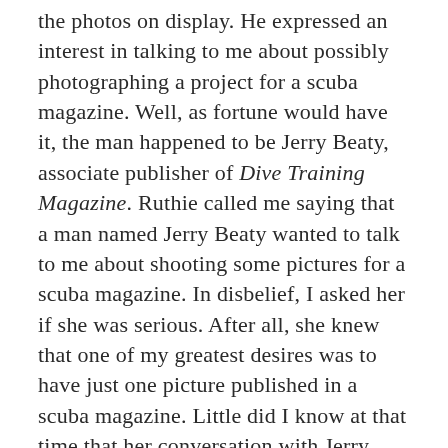the photos on display. He expressed an interest in talking to me about possibly photographing a project for a scuba magazine. Well, as fortune would have it, the man happened to be Jerry Beaty, associate publisher of Dive Training Magazine. Ruthie called me saying that a man named Jerry Beaty wanted to talk to me about shooting some pictures for a scuba magazine. In disbelief, I asked her if she was serious. After all, she knew that one of my greatest desires was to have just one picture published in a scuba magazine. Little did I know at that time that her conversation with Jerry would start us on a 19+ year career of working with Dive Training Magazine, making great new friends and traveling to many beautiful locations.
Jerry became familiar with my name because of